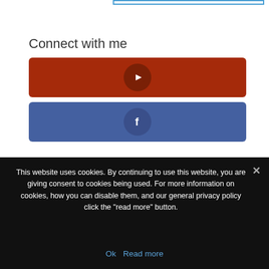[Figure (screenshot): Partial input box with blue border at top of page]
Connect with me
[Figure (other): YouTube social button — dark red rectangle with YouTube play icon in a darker circle]
[Figure (other): Facebook social button — blue rectangle with Facebook 'f' icon in a darker circle]
This website uses cookies. By continuing to use this website, you are giving consent to cookies being used. For more information on cookies, how you can disable them, and our general privacy policy click the "read more" button.
Ok   Read more